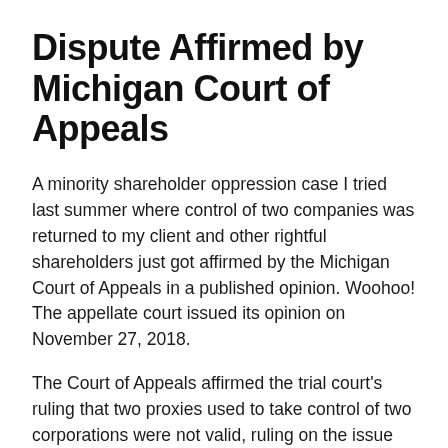Dispute Affirmed by Michigan Court of Appeals
A minority shareholder oppression case I tried last summer where control of two companies was returned to my client and other rightful shareholders just got affirmed by the Michigan Court of Appeals in a published opinion. Woohoo! The appellate court issued its opinion on November 27, 2018.
The Court of Appeals affirmed the trial court's ruling that two proxies used to take control of two corporations were not valid, ruling on the issue as a matter of first impression. I am pleased that the trial court's ruling was upheld, and that control of the company was rightfully returned to the shareholders. A link to the opinion of the Michigan Court of Appeals is below.